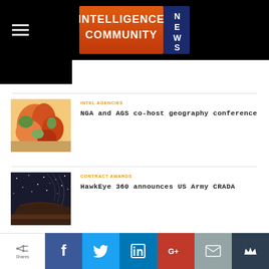Intelligence Community News
[Figure (photo): Map photo thumbnail for NGA and AGS geography conference article]
INTEL AGENCIES
NGA and AGS co-host geography conference
[Figure (photo): Night sky / mesa landscape photo thumbnail for HawkEye 360 article]
CONTRACT AWARDS
HawkEye 360 announces US Army CRADA
Shares | Facebook | Twitter | LinkedIn | Google+ | Email | Crown